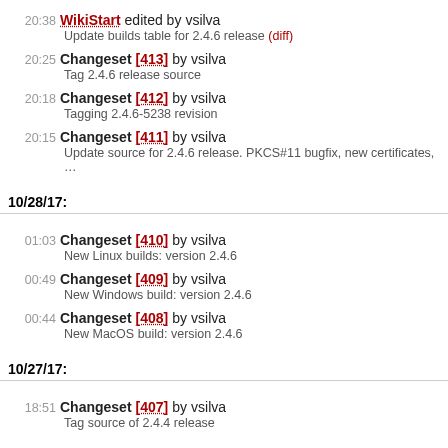20:38 WikiStart edited by vsilva
Update builds table for 2.4.6 release (diff)
20:25 Changeset [413] by vsilva
Tag 2.4.6 release source
20:18 Changeset [412] by vsilva
Tagging 2.4.6-5238 revision
20:15 Changeset [411] by vsilva
Update source for 2.4.6 release. PKCS#11 bugfix, new certificates, ...
10/28/17:
01:03 Changeset [410] by vsilva
New Linux builds: version 2.4.6
00:49 Changeset [409] by vsilva
New Windows build: version 2.4.6
00:44 Changeset [408] by vsilva
New MacOS build: version 2.4.6
10/27/17:
18:51 Changeset [407] by vsilva
Tag source of 2.4.4 release